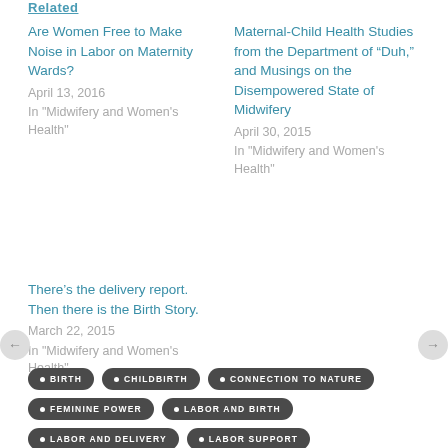Related
Are Women Free to Make Noise in Labor on Maternity Wards?
April 13, 2016
In "Midwifery and Women's Health"
Maternal-Child Health Studies from the Department of “Duh,” and Musings on the Disempowered State of Midwifery
April 30, 2015
In "Midwifery and Women's Health"
There’s the delivery report. Then there is the Birth Story.
March 22, 2015
In "Midwifery and Women's Health"
BIRTH
CHILDBIRTH
CONNECTION TO NATURE
FEMININE POWER
LABOR AND BIRTH
LABOR AND DELIVERY
LABOR SUPPORT